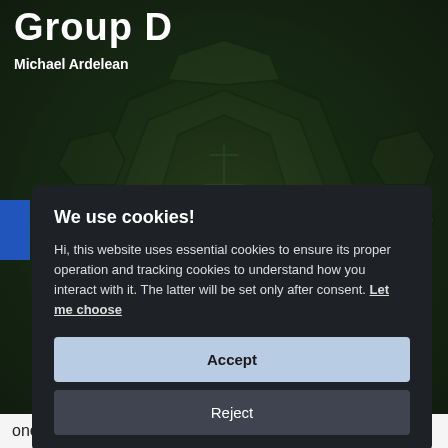Group D
Michael Ardelean
[Figure (screenshot): Cookie consent dialog overlay on a dark gaming website background showing stone/mosaic game art (League of Legends style). The background shows dark green stone tiles with runic markings. A blue vertical bar appears on the left side.]
We use cookies!
Hi, this website uses essential cookies to ensure its proper operation and tracking cookies to understand how you interact with it. The latter will be set only after consent. Let me choose
Accept
Reject
one clearly is the underdog and the fourth one still